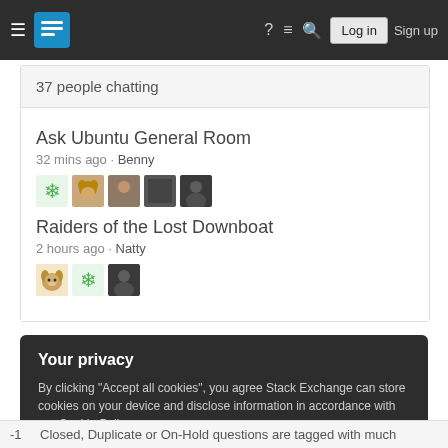Stack Exchange — Log in | Sign up
37 people chatting
Ask Ubuntu General Room
32 mins ago · Benny
Raiders of the Lost Downboat
2 hours ago · Natty
Your privacy
By clicking "Accept all cookies", you agree Stack Exchange can store cookies on your device and disclose information in accordance with our Cookie Policy.
Accept all cookies | Customize settings
-1  Closed, Duplicate or On-Hold questions are tagged with much